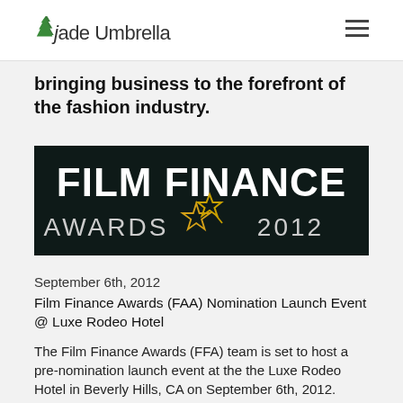Jade Umbrella
bringing business to the forefront of the fashion industry.
[Figure (logo): Film Finance Awards 2012 logo — dark background with bold white 'FILM FINANCE' text, 'AWARDS' text and '2012' with a gold star outline]
September 6th, 2012
Film Finance Awards (FAA) Nomination Launch Event @ Luxe Rodeo Hotel
The Film Finance Awards (FFA) team is set to host a pre-nomination launch event at the the Luxe Rodeo Hotel in Beverly Hills, CA on September 6th, 2012. Supporting partners for this film financing fete include: Forrest Equity